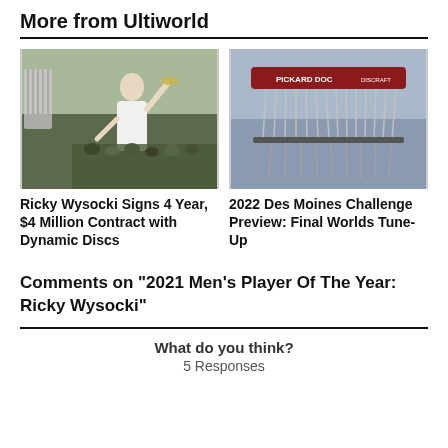More from Ultiworld
[Figure (photo): Ricky Wysocki celebrating with a disc in hand, disc golf basket in background, outdoor wooded setting]
[Figure (photo): Close-up of a disc golf basket (Pickard DOC / Discraft) with chains, blurred background]
Ricky Wysocki Signs 4 Year, $4 Million Contract with Dynamic Discs
2022 Des Moines Challenge Preview: Final Worlds Tune-Up
Comments on "2021 Men's Player Of The Year: Ricky Wysocki"
What do you think?
5 Responses